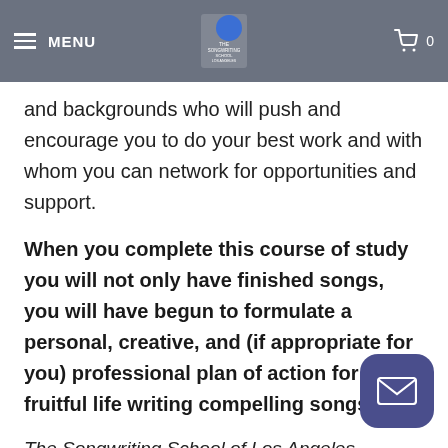MENU | [Logo: The Songwriting School of Los Angeles] | Cart (0)
and backgrounds who will push and encourage you to do your best work and with whom you can network for opportunities and support.
When you complete this course of study you will not only have finished songs, you will have begun to formulate a personal, creative, and (if appropriate for you) professional plan of action for a fruitful life writing compelling songs.
The Songwriting School of Los Angeles recognizes and seeks to honor your unique needs. Whenever you are ready for the next step, we're ready to help you take it.